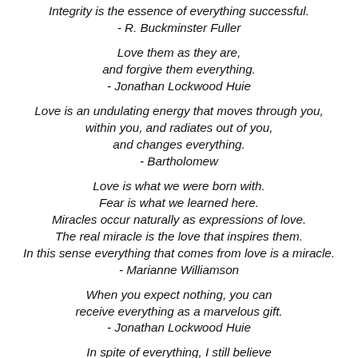Integrity is the essence of everything successful.
- R. Buckminster Fuller
Love them as they are,
and forgive them everything.
- Jonathan Lockwood Huie
Love is an undulating energy that moves through you,
within you, and radiates out of you,
and changes everything.
- Bartholomew
Love is what we were born with.
Fear is what we learned here.
Miracles occur naturally as expressions of love.
The real miracle is the love that inspires them.
In this sense everything that comes from love is a miracle.
- Marianne Williamson
When you expect nothing, you can
receive everything as a marvelous gift.
- Jonathan Lockwood Huie
In spite of everything, I still believe
that people are really good at heart.
I simply can't build up my hopes on a foundation